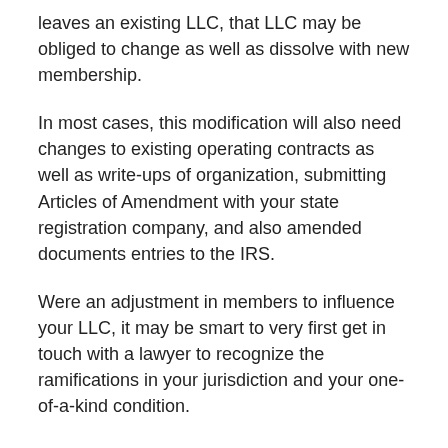leaves an existing LLC, that LLC may be obliged to change as well as dissolve with new membership.
In most cases, this modification will also need changes to existing operating contracts as well as write-ups of organization, submitting Articles of Amendment with your state registration company, and also amended documents entries to the IRS.
Were an adjustment in members to influence your LLC, it may be smart to very first get in touch with a lawyer to recognize the ramifications in your jurisdiction and your one-of-a-kind condition.
Cost